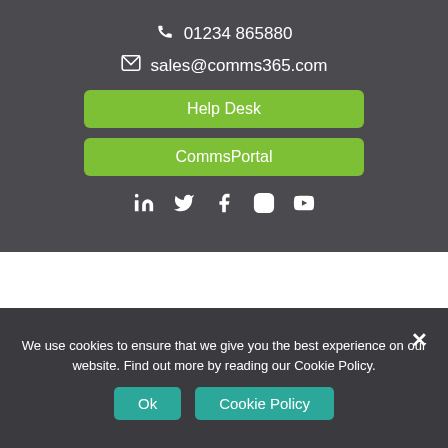01234 865880
sales@comms365.com
Help Desk
CommsPortal
[Figure (logo): Social media icons: LinkedIn, Twitter, Facebook, Instagram, YouTube]
[Figure (logo): Comms365 logo with red 'comms' text and grey '365' text]
We use cookies to ensure that we give you the best experience on our website. Find out more by reading our Cookie Policy.
Ok
Cookie Policy